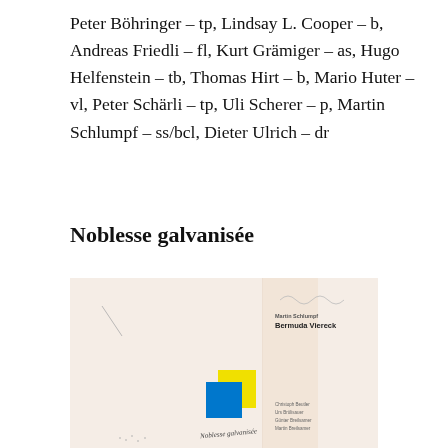Peter Böhringer – tp, Lindsay L. Cooper – b, Andreas Friedli – fl, Kurt Grämiger – as, Hugo Helfenstein – tb, Thomas Hirt – b, Mario Huter – vl, Peter Schärli – tp, Uli Scherer – p, Martin Schlumpf – ss/bcl, Dieter Ulrich – dr
Noblesse galvanisée
[Figure (illustration): Album cover image for 'Bermuda Viereck' — pale beige/cream background with a yellow square overlapping a blue square in the lower-center area; text 'Bermuda Viereck' in the upper right; text 'Noblesse galvanisée' in cursive at the bottom right; a thin wavy line in the upper right and a diagonal line in the upper left; small text credits at the bottom right.]